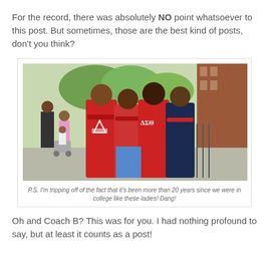For the record, there was absolutely NO point whatsoever to this post. But sometimes, those are the best kind of posts, don't you think?
[Figure (photo): Four young women posing together outdoors on a sidewalk, three wearing red Delta Sigma Theta sorority sweatshirts. A street scene with trees, a brick building, and other people in the background.]
P.S. I'm tripping off of the fact that it's been more than 20 years since we were in college like these ladies! Dang!
Oh and Coach B? This was for you. I had nothing profound to say, but at least it counts as a post!